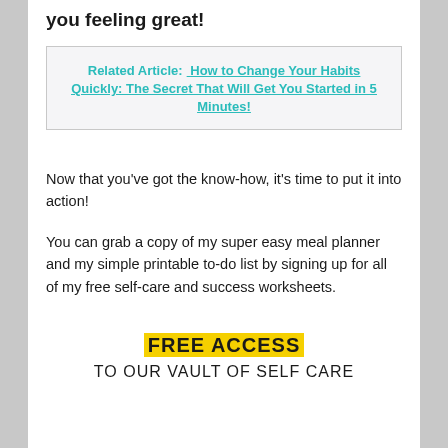you feeling great!
Related Article:  How to Change Your Habits Quickly: The Secret That Will Get You Started in 5 Minutes!
Now that you've got the know-how, it's time to put it into action!
You can grab a copy of my super easy meal planner and my simple printable to-do list by signing up for all of my free self-care and success worksheets.
FREE ACCESS
TO OUR VAULT OF SELF CARE